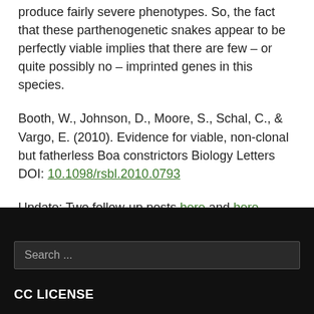produce fairly severe phenotypes. So, the fact that these parthenogenetic snakes appear to be perfectly viable implies that there are few – or quite possibly no – imprinted genes in this species.
Booth, W., Johnson, D., Moore, S., Schal, C., & Vargo, E. (2010). Evidence for viable, non-clonal but fatherless Boa constrictors Biology Letters DOI: 10.1098/rsbl.2010.0793
Update: Two follow-up posts here and here.
Search ...
CC LICENSE